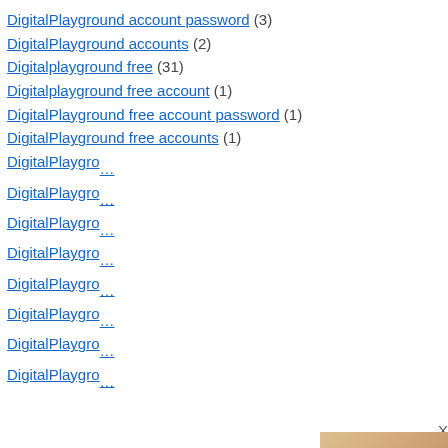DigitalPlayground account password (3)
DigitalPlayground accounts (2)
Digitalplayground free (31)
Digitalplayground free account (1)
DigitalPlayground free account password (1)
DigitalPlayground free accounts (1)
DigitalPlaygro... (partially visible)
DigitalPlaygro... (partially visible)
DigitalPlaygro... (partially visible)
DigitalPlaygro... (partially visible)
DigitalPlaygro... (partially visible)
DigitalPlaygro... (partially visible)
DigitalPlaygro... (partially visible)
DigitalPlaygro... (partially visible)
[Figure (advertisement): Adult advertisement overlay with photo and TikTok Adult Version promotional banner with TAP HERE button]